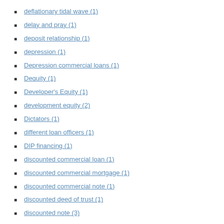deflationary tidal wave (1)
delay and pray (1)
deposit relationship (1)
depression (1)
Depression commercial loans (1)
Dequity (1)
Developer's Equity (1)
development equity (2)
Dictators (1)
different loan officers (1)
DIP financing (1)
discounted commercial loan (1)
discounted commercial mortgage (1)
discounted commercial note (1)
discounted deed of trust (1)
discounted note (3)